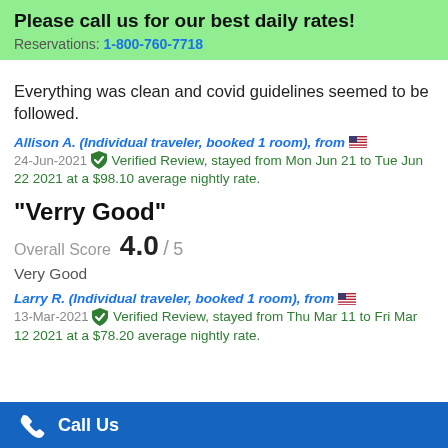Please call us for our best daily rates! Reservations: 1-800-760-7718
Everything was clean and covid guidelines seemed to be followed.
Allison A. (Individual traveler, booked 1 room), from 🇺🇸
24-Jun-2021 ✓ Verified Review, stayed from Mon Jun 21 to Tue Jun 22 2021 at a $98.10 average nightly rate.
"Verry Good"
Overall Score 4.0 / 5
Very Good
Larry R. (Individual traveler, booked 1 room), from 🇺🇸
13-Mar-2021 ✓ Verified Review, stayed from Thu Mar 11 to Fri Mar 12 2021 at a $78.20 average nightly rate.
Call Us